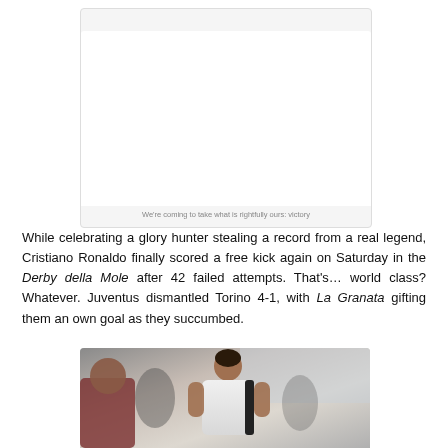[Figure (photo): White/light gray blank image area with caption below inside a rounded box]
We're coming to take what is rightfully ours: victory
While celebrating a glory hunter stealing a record from a real legend, Cristiano Ronaldo finally scored a free kick again on Saturday in the Derby della Mole after 42 failed attempts. That's… world class? Whatever. Juventus dismantled Torino 4-1, with La Granata gifting them an own goal as they succumbed.
[Figure (photo): Photo of a footballer (Cristiano Ronaldo) in a white Juventus kit, cropped at the bottom of the page]